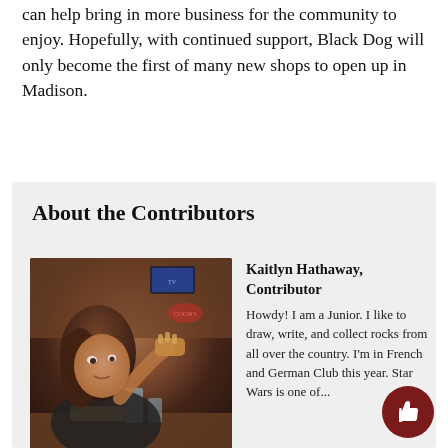can help bring in more business for the community to enjoy. Hopefully, with continued support, Black Dog will only become the first of many new shops to open up in Madison.
About the Contributors
[Figure (photo): Photo of Kaitlyn Hathaway sitting at a restaurant table, holding food, with a TV and wooden decor in the background.]
Kaitlyn Hathaway, Contributor
Howdy! I am a Junior. I like to draw, write, and collect rocks from all over the country. I'm in French and German Club this year. Star Wars is one of...